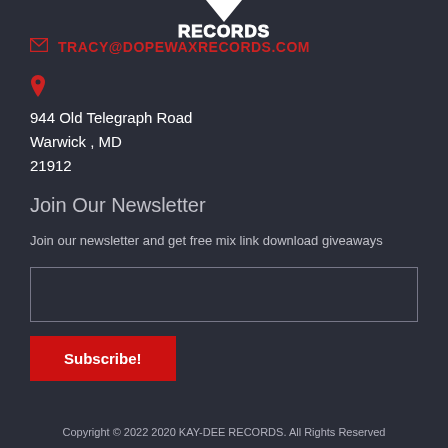[Figure (logo): Dope Wax Records logo with downward arrow and bold text 'RECORDS']
TRACY@DOPEWAXRECORDS.COM
944 Old Telegraph Road
Warwick , MD
21912
Join Our Newsletter
Join our newsletter and get free mix link download giveaways
Copyright © 2022 2020 KAY-DEE RECORDS. All Rights Reserved